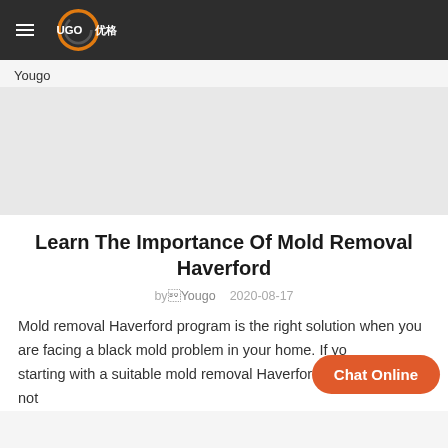UGO 优格 (logo and navigation header)
Yougo
[Figure (photo): Large image placeholder area for article hero image]
Learn The Importance Of Mold Removal Haverford
by Yougo   2020-08-17
Mold removal Haverford program is the right solution when you are facing a black mold problem in your home. If yo... starting with a suitable mold removal Haverford, then you are not